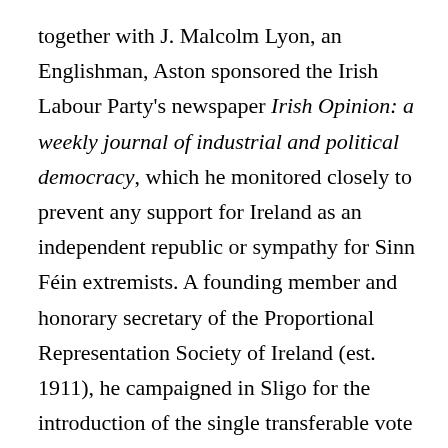together with J. Malcolm Lyon, an Englishman, Aston sponsored the Irish Labour Party's newspaper Irish Opinion: a weekly journal of industrial and political democracy, which he monitored closely to prevent any support for Ireland as an independent republic or sympathy for Sinn Féin extremists. A founding member and honorary secretary of the Proportional Representation Society of Ireland (est. 1911), he campaigned in Sligo for the introduction of the single transferable vote in its borough council elections (1918), which contributed to its adoption after independence. He also published An Irish constituent convention: the Sligo